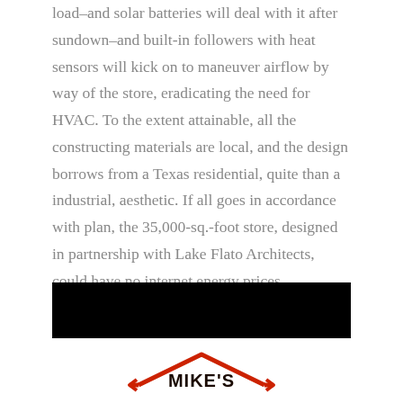load–and solar batteries will deal with it after sundown–and built-in followers with heat sensors will kick on to maneuver airflow by way of the store, eradicating the need for HVAC. To the extent attainable, all the constructing materials are local, and the design borrows from a Texas residential, quite than a industrial, aesthetic. If all goes in accordance with plan, the 35,000-sq.-foot store, designed in partnership with Lake Flato Architects, could have no internet energy prices.
[Figure (other): Black rectangular banner/bar]
[Figure (logo): Mike's logo with red roof/house outline and bold text reading MIKE'S]